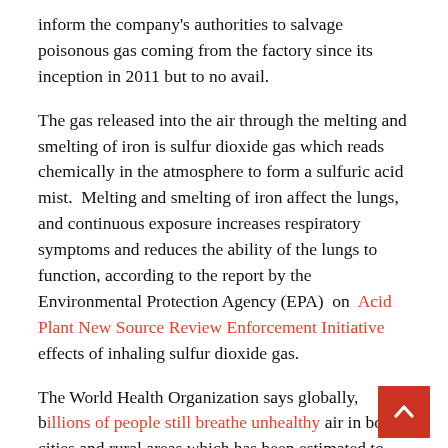inform the company's authorities to salvage poisonous gas coming from the factory since its inception in 2011 but to no avail.
The gas released into the air through the melting and smelting of iron is sulfur dioxide gas which reads chemically in the atmosphere to form a sulfuric acid mist.  Melting and smelting of iron affect the lungs,  and continuous exposure increases respiratory symptoms and reduces the ability of the lungs to function, according to the report by the Environmental Protection Agency (EPA)  on  Acid Plant New Source Review Enforcement Initiative effects of inhaling sulfur dioxide gas.
The World Health Organization says globally, billions of people still breathe unhealthy air in both cities and rural areas which has been estimated to cause 4.2 million premature deaths worldwide per year in 2016.
WHO in 2016 estimated that 58 percent of outdoor air pollution-related deaths were due to Ischemic heart diseases and stroke while 18 percent of deaths were due to chronic...